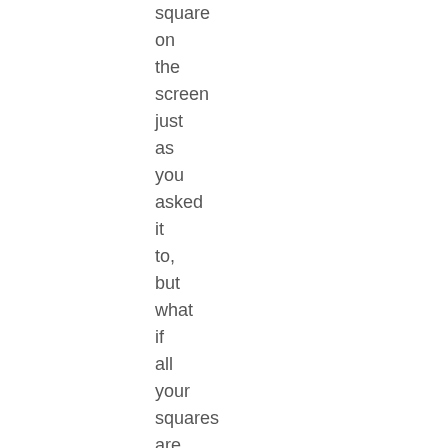square on the screen just as you asked it to, but what if all your squares are not the same size? Let's make a function